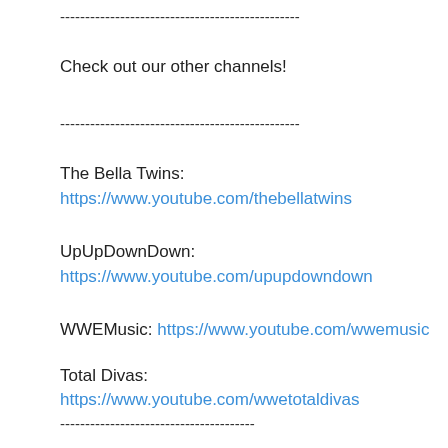------------------------------------------------
Check out our other channels!
------------------------------------------------
The Bella Twins: https://www.youtube.com/thebellatwins
UpUpDownDown: https://www.youtube.com/upupdowndown
WWEMusic: https://www.youtube.com/wwemusic
Total Divas: https://www.youtube.com/wwetotaldivas
--------------------------------------
WWE on Social Media